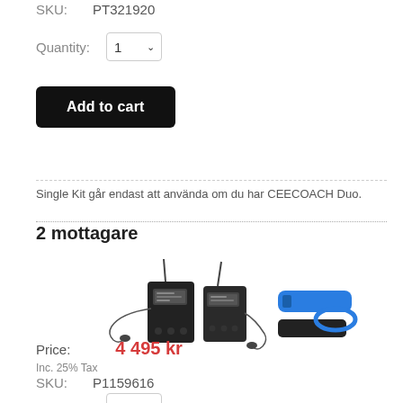SKU: PT321920
Quantity: 1
Add to cart
Single Kit går endast att använda om du har CEECOACH Duo.
2 mottagare
[Figure (photo): Two wireless audio receiver/transmitter devices with earphones and accessories including blue and black battery packs and a clip]
Price: 4 495 kr
Inc. 25% Tax
SKU: P1159616
Quantity: 1